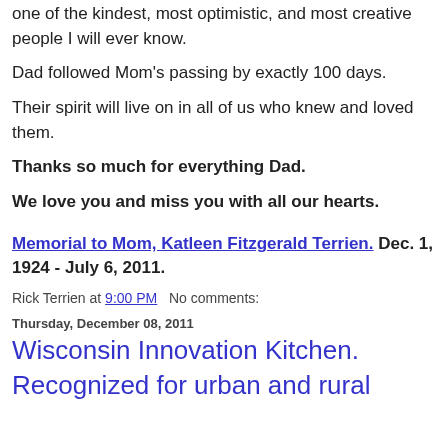one of the kindest, most optimistic, and most creative people I will ever know.
Dad followed Mom's passing by exactly 100 days.
Their spirit will live on in all of us who knew and loved them.
Thanks so much for everything Dad.
We love you and miss you with all our hearts.
Memorial to Mom, Katleen Fitzgerald Terrien. Dec. 1, 1924 - July 6, 2011.
Rick Terrien at 9:00 PM   No comments:
Thursday, December 08, 2011
Wisconsin Innovation Kitchen. Recognized for urban and rural